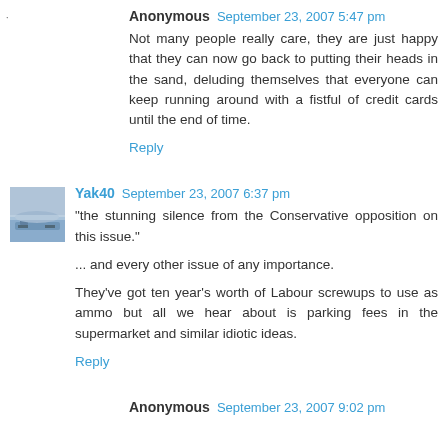Anonymous  September 23, 2007 5:47 pm
Not many people really care, they are just happy that they can now go back to putting their heads in the sand, deluding themselves that everyone can keep running around with a fistful of credit cards until the end of time.
Reply
Yak40  September 23, 2007 6:37 pm
"the stunning silence from the Conservative opposition on this issue."
... and every other issue of any importance.
They've got ten year's worth of Labour screwups to use as ammo but all we hear about is parking fees in the supermarket and similar idiotic ideas.
Reply
Anonymous  September 23, 2007 9:02 pm